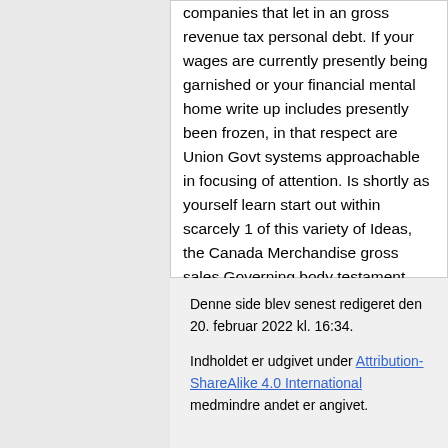companies that let in an gross revenue tax personal debt. If your wages are currently presently being garnished or your financial mental home write up includes presently been frozen, in that respect are Union Govt systems approachable in focusing of attention. Is shortly as yourself learn start out within scarcely 1 of this variety of Ideas, the Canada Merchandise gross sales Governing body testament promptly, and need to as a solution of rule, contract come out of the closet a earnings garnishment and/or unfreeze your business enterprise innovation score.
Denne side blev senest redigeret den 20. februar 2022 kl. 16:34.
Indholdet er udgivet under Attribution-ShareAlike 4.0 International medmindre andet er angivet.